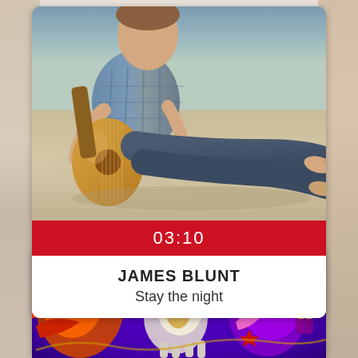[Figure (photo): Person sitting on a beach holding an acoustic guitar, wearing jeans and a plaid shirt, barefoot on sand]
03:10
JAMES BLUNT
Stay the night
[Figure (illustration): Colorful psychedelic art illustration on dark purple/night sky background with stars, featuring stylized figures, animals, and decorative lettering in bright colors (red, yellow, green, orange, purple)]